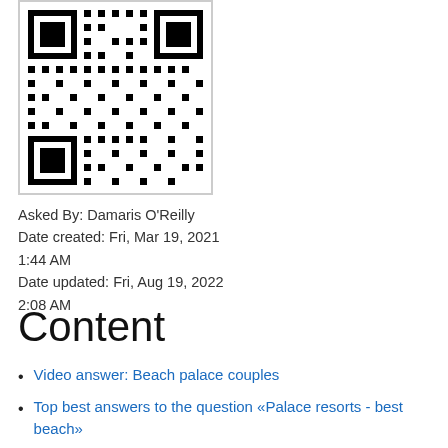[Figure (other): QR code image in a bordered box]
Asked By: Damaris O'Reilly
Date created: Fri, Mar 19, 2021 1:44 AM
Date updated: Fri, Aug 19, 2022 2:08 AM
Content
Video answer: Beach palace couples
Top best answers to the question «Palace resorts - best beach»
Video answer: Palace resorts - cancun beach